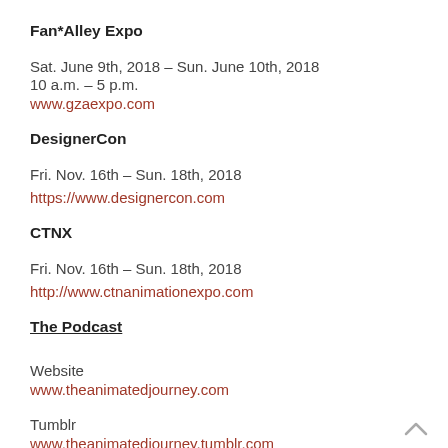Fan*Alley Expo
Sat. June 9th, 2018 – Sun. June 10th, 2018
10 a.m. – 5 p.m.
www.gzaexpo.com
DesignerCon
Fri. Nov. 16th – Sun. 18th, 2018
https://www.designercon.com
CTNX
Fri. Nov. 16th – Sun. 18th, 2018
http://www.ctnanimationexpo.com
The Podcast
Website
www.theanimatedjourney.com
Tumblr
www.theanimatedjourney.tumblr.com